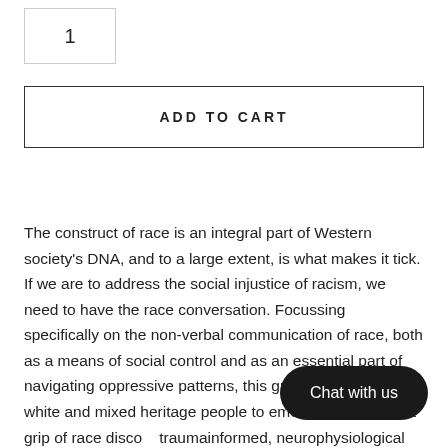1
ADD TO CART
The construct of race is an integral part of Western society's DNA, and to a large extent, is what makes it tick. If we are to address the social injustice of racism, we need to have the race conversation. Focussing specifically on the non-verbal communication of race, both as a means of social control and as an essential part of navigating oppressive patterns, this guide supports black, white and mixed heritage people to emerge from the tight grip of race disco... traumainformed, neurophysiological app... hat emphasises resourcing, body awareness, mindfulness and healing. Is it possible not to be confused about race? Is it
Chat with us